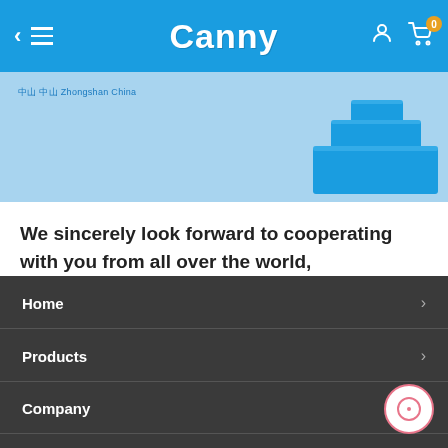Canny
[Figure (screenshot): Partial banner image showing a map location label '中山 中山 Zhongshan China' and blue stepped/stacked blocks graphic on light blue background]
We sincerely look forward to cooperating with you from all over the world, Create a brilliant tomorrow!
Home
Products
Company